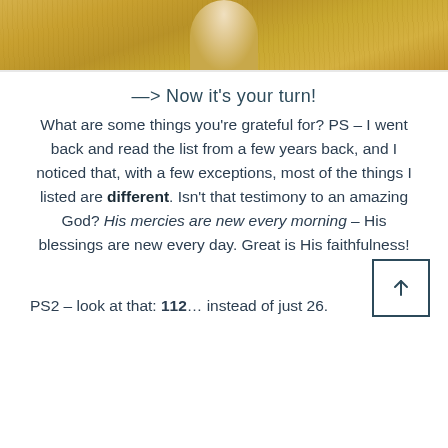[Figure (photo): Top portion of a photo showing a person/child running through a golden wheat field, only the lower portion of the field and background visible]
—> Now it's your turn!
What are some things you're grateful for? PS – I went back and read the list from a few years back, and I noticed that, with a few exceptions, most of the things I listed are different. Isn't that testimony to an amazing God? His mercies are new every morning – His blessings are new every day. Great is His faithfulness!
PS2 – look at that: 112… instead of just 26.